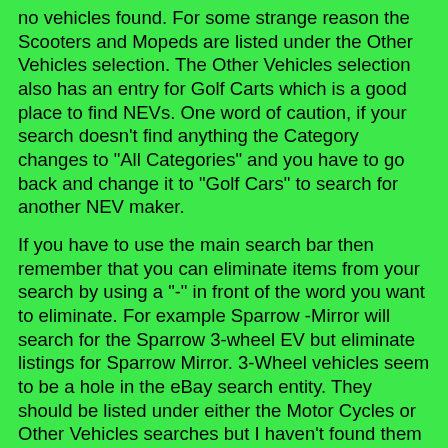no vehicles found.  For some strange reason the Scooters and Mopeds are listed under the Other Vehicles selection.  The Other Vehicles selection also has an entry for Golf Carts which is a good place to find NEVs.  One word of caution, if your search doesn't find anything the Category changes to "All Categories" and you have to go back and change it to "Golf Cars" to search for another NEV maker.
If you have to use the main search bar then remember that you can eliminate items from your search by using a "-" in front of the word you want to eliminate.  For example Sparrow -Mirror will search for the Sparrow 3-wheel EV but eliminate listings for Sparrow Mirror.  3-Wheel vehicles seem to be a hole in the eBay search entity.  They should be listed under either the Motor Cycles or Other Vehicles searches but I haven't found them so far.
Advanced search is another option that provides a couple of interesting ways to eliminate the parts sellers.  The first way is to get rid of those foreign sellers such as the ones located in China or Indonesia.  First enter your search parameters and click on the "Search" button.  When the search results